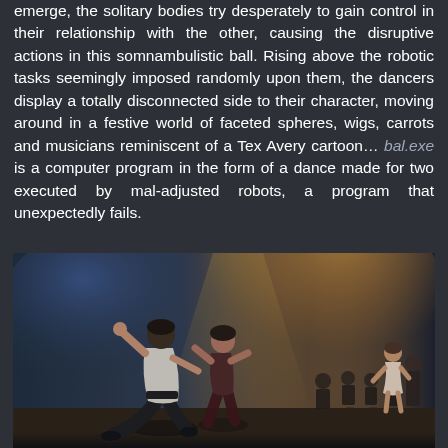emerge, the solitary bodies try desperately to gain control in their relationship with the other, causing the disruptive actions in this somnambulistic ball. Rising above the robotic tasks seemingly imposed randomly upon them, the dancers display a totally disconnected side to their character, moving around in a festive world of faceted spheres, wigs, carrots and musicians reminiscent of a Tex Avery cartoon… bal.exe is a computer program in the form of a dance made for two executed by mal-adjusted robots, a program that unexpectedly fails.
[Figure (photo): Two dancers performing on stage with dramatic lighting — one in a white/light shirt and dark pants lunging forward, another in dark clothing. In the background, an orchestra of musicians seated at chairs on an illuminated stage with blue/amber lighting and atmospheric haze.]